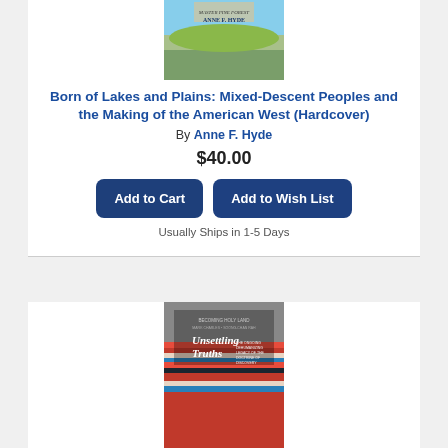[Figure (illustration): Book cover for 'Born of Lakes and Plains' by Anne F. Hyde, showing a landscape illustration]
Born of Lakes and Plains: Mixed-Descent Peoples and the Making of the American West (Hardcover)
By Anne F. Hyde
$40.00
Add to Cart
Add to Wish List
Usually Ships in 1-5 Days
[Figure (illustration): Book cover for 'Unsettling Truths: The Ongoing, Dehumanizing Legacy of the Doctrine of Discovery' with colorful textile pattern background]
Unsettling Truths: The Ongoing, Dehumanizing Legacy of the Doctrine of Discovery (Paperback)